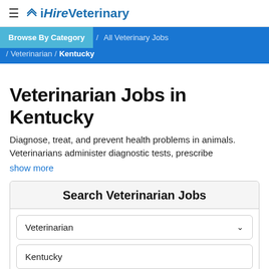iHireVeterinary
Browse By Category / All Veterinary Jobs / Veterinarian / Kentucky
Veterinarian Jobs in Kentucky
Diagnose, treat, and prevent health problems in animals. Veterinarians administer diagnostic tests, prescribe
show more
Search Veterinarian Jobs
Veterinarian
Kentucky